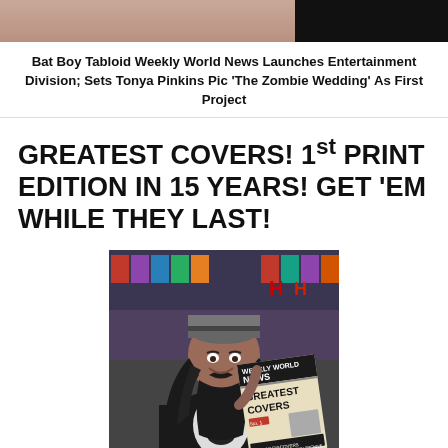[Figure (photo): Top banner image showing partial face on left (skin-tone) and dark right portion]
Bat Boy Tabloid Weekly World News Launches Entertainment Division; Sets Tonya Pinkins Pic 'The Zombie Wedding' As First Project
GREATEST COVERS! 1st PRINT EDITION IN 15 YEARS! GET 'EM WHILE THEY LAST!
[Figure (photo): Man with long dark hair and beanie hat smiling in a store, holding a Weekly World News 'Greatest Covers' newspaper edition, wearing a black horror t-shirt]